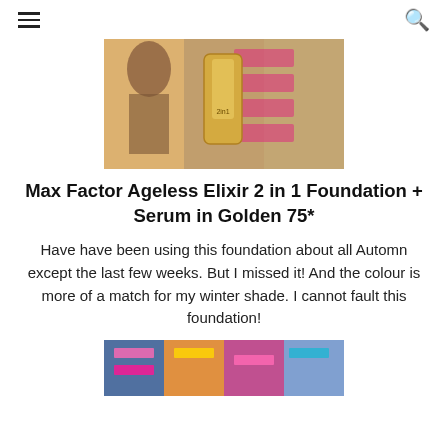≡  🔍
[Figure (photo): Photo of Max Factor Ageless Elixir 2 in 1 Foundation bottle in gold packaging, surrounded by magazines with pink text on covers]
Max Factor Ageless Elixir 2 in 1 Foundation + Serum in Golden 75*
Have have been using this foundation about all Automn except the last few weeks. But I missed it! And the colour is more of a match for my winter shade. I cannot fault this foundation!
[Figure (photo): Partial photo at the bottom of the page showing magazines with colorful covers]